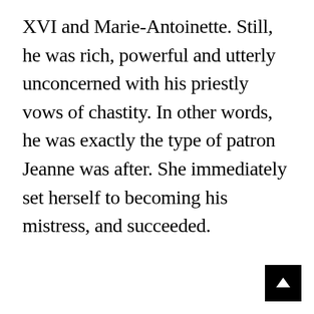XVI and Marie-Antoinette. Still, he was rich, powerful and utterly unconcerned with his priestly vows of chastity. In other words, he was exactly the type of patron Jeanne was after. She immediately set herself to becoming his mistress, and succeeded.